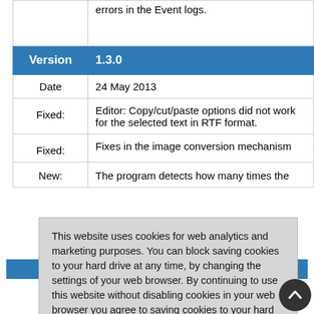| Version | 1.3.0 |
| --- | --- |
| Date | 24 May 2013 |
| Fixed: | Editor: Copy/cut/paste options did not work for the selected text in RTF format. |
| Fixed: | Fixes in the image conversion mechanism |
| New: | The program detects how many times the |
This website uses cookies for web analytics and marketing purposes. You can block saving cookies to your hard drive at any time, by changing the settings of your web browser. By continuing to use this website without disabling cookies in your web browser you agree to saving cookies to your hard drive. Learn more in our Privacy Policy.